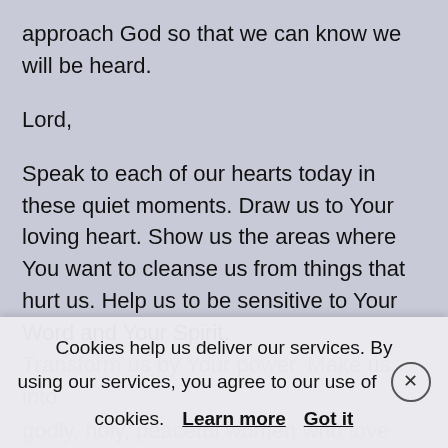approach God so that we can know we will be heard.
Lord,
Speak to each of our hearts today in these quiet moments. Draw us to Your loving heart. Show us the areas where You want to cleanse us from things that hurt us. Help us to be sensitive to Your Word and Your Spirit. Transform us by Your power. Make us into godly, holy, peaceful women who love You far more than anything or anyone in this world. Pour Your abounding love and Spirit into us and
Cookies help us deliver our services. By using our services, you agree to our use of cookies. Learn more  Got it